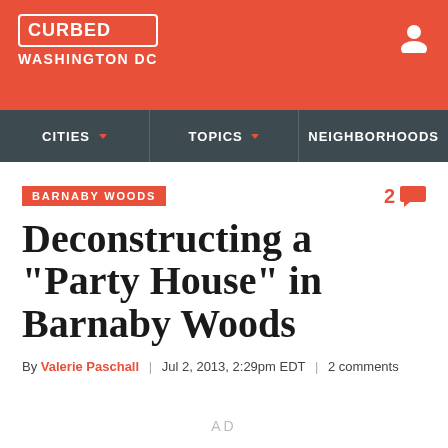CURBED WASHINGTON DC
CITIES | TOPICS | NEIGHBORHOODS
BARNABY WOODS
Deconstructing a "Party House" in Barnaby Woods
By Valerie Paschall | Jul 2, 2013, 2:29pm EDT | 2 comments
AD